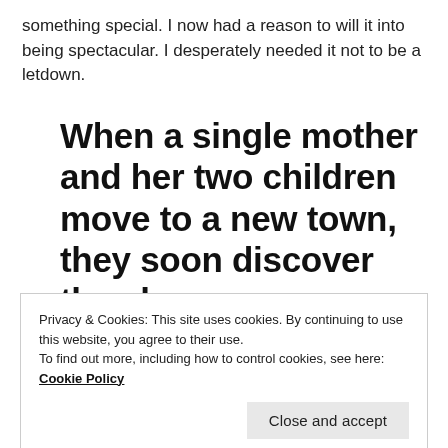something special. I now had a reason to will it into being spectacular. I desperately needed it not to be a letdown.
When a single mother and her two children move to a new town, they soon discover they have a connection to the
Privacy & Cookies: This site uses cookies. By continuing to use this website, you agree to their use.
To find out more, including how to control cookies, see here: Cookie Policy
Close and accept